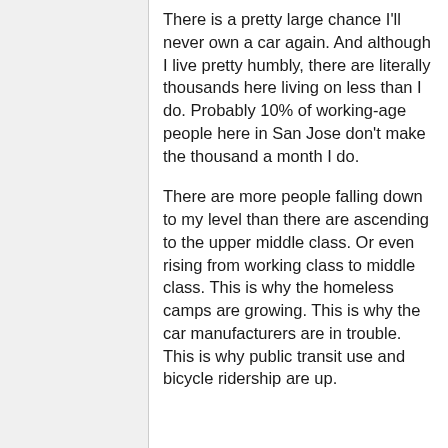There is a pretty large chance I'll never own a car again. And although I live pretty humbly, there are literally thousands here living on less than I do. Probably 10% of working-age people here in San Jose don't make the thousand a month I do.
There are more people falling down to my level than there are ascending to the upper middle class. Or even rising from working class to middle class. This is why the homeless camps are growing. This is why the car manufacturers are in trouble. This is why public transit use and bicycle ridership are up.